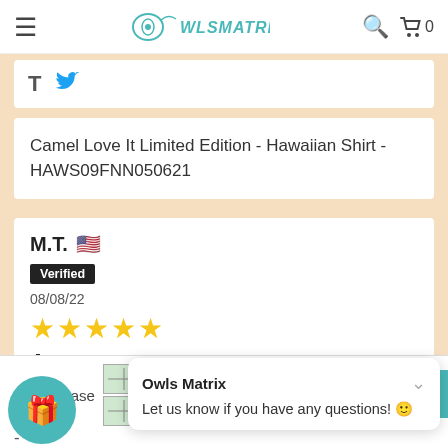OwlsMatrix — navigation bar with hamburger menu, logo, search and cart icons
[Figure (screenshot): Social media share buttons strip showing T (tumblr) and Twitter bird icon]
Camel Love It Limited Edition - Hawaiian Shirt - HAWS09FNN050621
M.T. 🇺🇸
Verified
08/08/22
★★★★★
Awesome
t compliments on all the... Read more
Shoes Base
Owls Matrix
Let us know if you have any questions! 😊